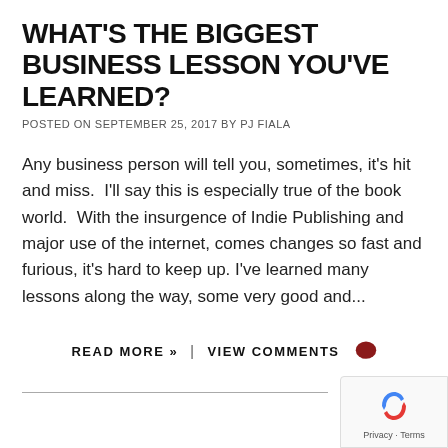WHAT'S THE BIGGEST BUSINESS LESSON YOU'VE LEARNED?
POSTED ON SEPTEMBER 25, 2017 BY PJ FIALA
Any business person will tell you, sometimes, it's hit and miss.  I'll say this is especially true of the book world.  With the insurgence of Indie Publishing and major use of the internet, comes changes so fast and furious, it's hard to keep up. I've learned many lessons along the way, some very good and...
READ MORE »   |   VIEW COMMENTS